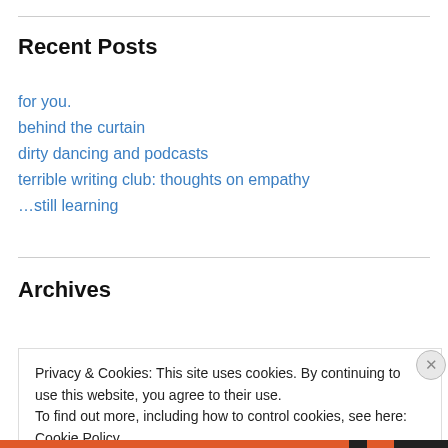Recent Posts
for you.
behind the curtain
dirty dancing and podcasts
terrible writing club: thoughts on empathy
…still learning
Archives
February 2022
Privacy & Cookies: This site uses cookies. By continuing to use this website, you agree to their use.
To find out more, including how to control cookies, see here: Cookie Policy
Close and accept